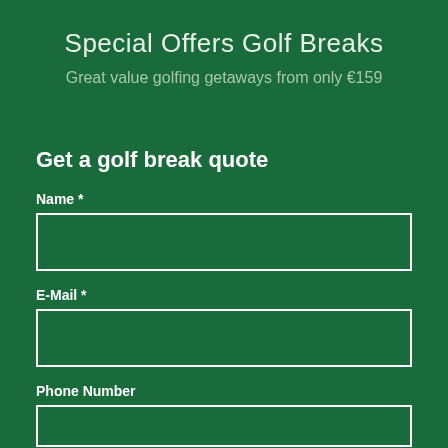Special Offers Golf Breaks
Great value golfing getaways from only €159
Get a golf break quote
Name *
E-Mail *
Phone Number